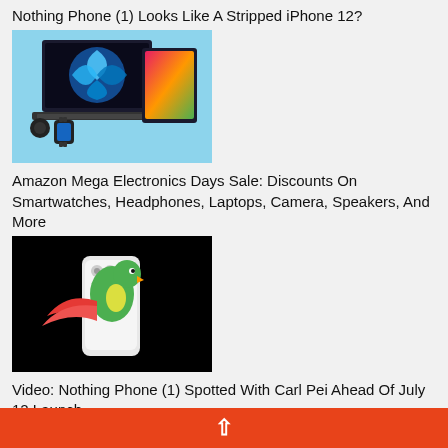Nothing Phone (1) Looks Like A Stripped iPhone 12?
[Figure (photo): Electronics product photo showing laptop with Windows 11 interface, tablet, keyboard, smartwatch, earbuds displayed on light blue background]
Amazon Mega Electronics Days Sale: Discounts On Smartwatches, Headphones, Laptops, Camera, Speakers, And More
[Figure (photo): Dark background photo showing a parrot perched on a white Nothing Phone (1) device]
Video: Nothing Phone (1) Spotted With Carl Pei Ahead Of July 12 Launch
[Figure (photo): Blue background image showing a hand holding a smartphone with an app icon visible]
^